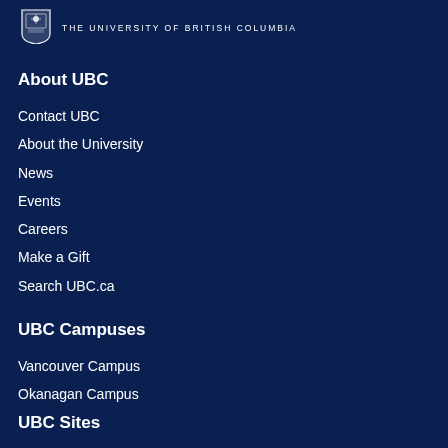[Figure (logo): UBC shield logo with text THE UNIVERSITY OF BRITISH COLUMBIA]
About UBC
Contact UBC
About the University
News
Events
Careers
Make a Gift
Search UBC.ca
UBC Campuses
Vancouver Campus
Okanagan Campus
UBC Sites
Robson Square
Centre for Digital Media